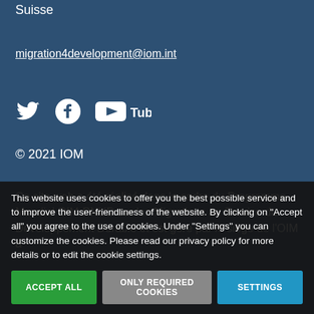Suisse
migration4development@iom.int
[Figure (other): Social media icons: Twitter bird icon, Facebook circle icon, YouTube logo]
© 2021 IOM
Ce site web a été réalisé dans le cadre du Programme Mondial OIM-PNUD sur les Migrations au Service du Développement Durable et est géré par le siège de l'OIM à
This website uses cookies to offer you the best possible service and to improve the user-friendliness of the website. By clicking on "Accept all" you agree to the use of cookies. Under "Settings" you can customize the cookies. Please read our privacy policy for more details or to edit the cookie settings.